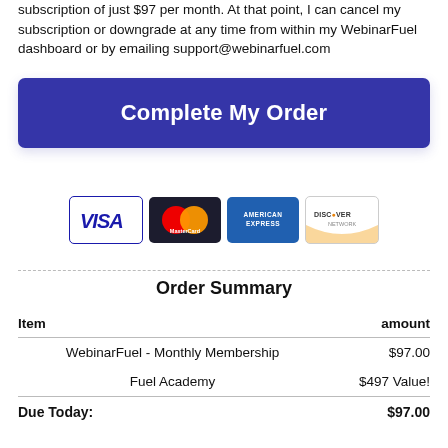subscription of just $97 per month. At that point, I can cancel my subscription or downgrade at any time from within my WebinarFuel dashboard or by emailing support@webinarfuel.com
Complete My Order
[Figure (other): Payment card logos: Visa, MasterCard, American Express, Discover]
Order Summary
| Item | amount |
| --- | --- |
| WebinarFuel - Monthly Membership | $97.00 |
| Fuel Academy | $497 Value! |
| Due Today: | $97.00 |